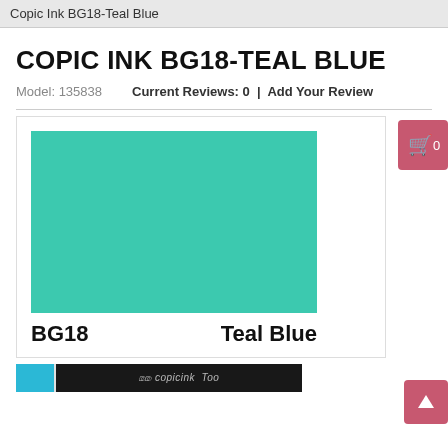Copic Ink BG18-Teal Blue
COPIC INK BG18-TEAL BLUE
Model: 135838    Current Reviews: 0  |  Add Your Review
[Figure (illustration): Large teal/turquoise color swatch rectangle representing Copic Ink color BG18-Teal Blue, with label 'BG18' on the left and 'Teal Blue' on the right below the swatch.]
[Figure (photo): Partial image of Copic Ink product packaging showing a blue cap and black label with 'copic ink' text.]